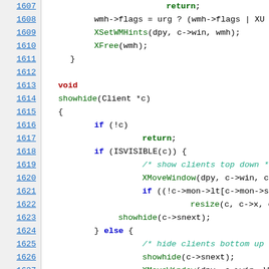Source code listing lines 1607-1628, C programming language, showing showhide function implementation